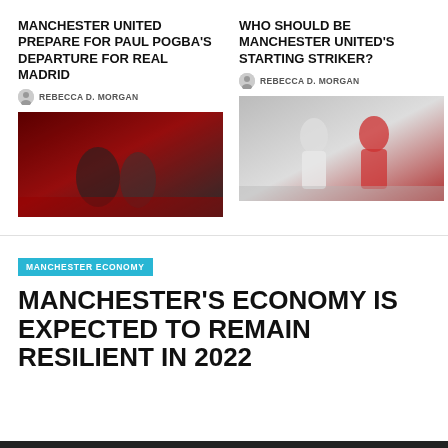MANCHESTER UNITED PREPARE FOR PAUL POGBA'S DEPARTURE FOR REAL MADRID
REBECCA D. MORGAN
[Figure (photo): Photo of Paul Pogba with Manchester United manager on pitch with red stadium lights in background]
WHO SHOULD BE MANCHESTER UNITED'S STARTING STRIKER?
REBECCA D. MORGAN
[Figure (photo): Photo of two Manchester United players, one in white kit and one in red kit, applauding]
MANCHESTER ECONOMY
MANCHESTER'S ECONOMY IS EXPECTED TO REMAIN RESILIENT IN 2022